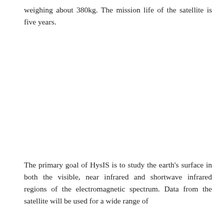weighing about 380kg. The mission life of the satellite is five years.
The primary goal of HysIS is to study the earth's surface in both the visible, near infrared and shortwave infrared regions of the electromagnetic spectrum. Data from the satellite will be used for a wide range of